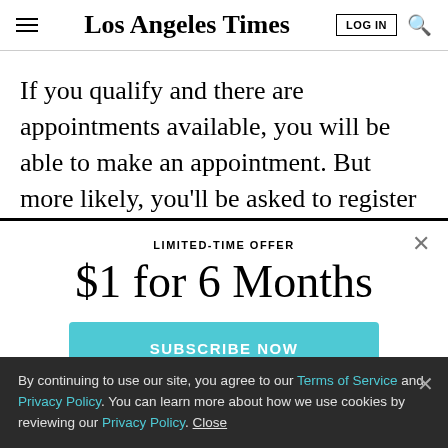Los Angeles Times — LOG IN [search]
If you qualify and there are appointments available, you will be able to make an appointment. But more likely, you'll be asked to register (with a unique email address, password, name, date of birth, sex at birth, race,
LIMITED-TIME OFFER
$1 for 6 Months
SUBSCRIBE NOW
By continuing to use our site, you agree to our Terms of Service and Privacy Policy. You can learn more about how we use cookies by reviewing our Privacy Policy. Close